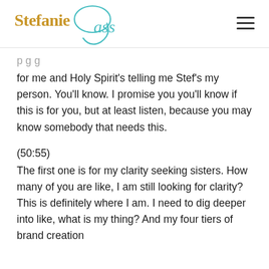Stefanie Gass
for me and Holy Spirit's telling me Stef's my person. You'll know. I promise you you'll know if this is for you, but at least listen, because you may know somebody that needs this.
(50:55)
The first one is for my clarity seeking sisters. How many of you are like, I am still looking for clarity? This is definitely where I am. I need to dig deeper into like, what is my thing? And my four tiers of brand creation